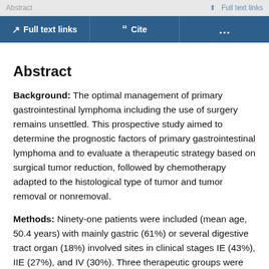Abstract | Full text links
Full text links | Cite | ...
Abstract
Background: The optimal management of primary gastrointestinal lymphoma including the use of surgery remains unsettled. This prospective study aimed to determine the prognostic factors of primary gastrointestinal lymphoma and to evaluate a therapeutic strategy based on surgical tumor reduction, followed by chemotherapy adapted to the histological type of tumor and tumor removal or nonremoval.
Methods: Ninety-one patients were included (mean age, 50.4 years) with mainly gastric (61%) or several digestive tract organ (18%) involved sites in clinical stages IE (43%), IIE (27%), and IV (30%). Three therapeutic groups were defined: group I, patients with low-grade lymphoma (n = 28); group II, patients with high-grade lymphoma...